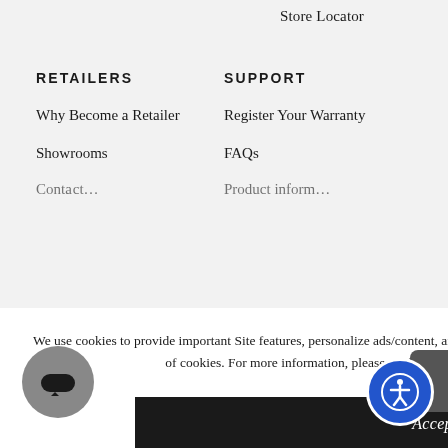Store Locator
RETAILERS
SUPPORT
Why Become a Retailer
Register Your Warranty
Showrooms
FAQs
We use cookies to provide important Site features, personalize ads/content, and analyze how our Site is used. By using this Site, you agree to our use of cookies. For more information, please read our updated Terms, Conditions, and Privacy Policy.
Accept
Deny